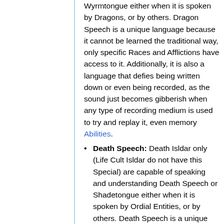Wyrmtongue either when it is spoken by Dragons, or by others. Dragon Speech is a unique language because it cannot be learned the traditional way, only specific Races and Afflictions have access to it. Additionally, it is also a language that defies being written down or even being recorded, as the sound just becomes gibberish when any type of recording medium is used to try and replay it, even memory Abilities.
Death Speech: Death Isldar only (Life Cult Isldar do not have this Special) are capable of speaking and understanding Death Speech or Shadetongue either when it is spoken by Ordial Entities, or by others. Death Speech is a unique language because it cannot be